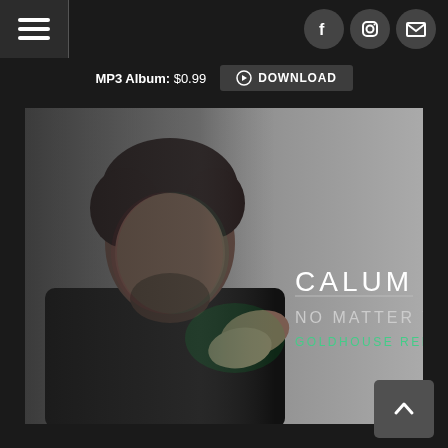MP3 Album: $0.99  DOWNLOAD
[Figure (photo): Album cover for Calum Scott - No Matter What (Goldhouse Remix). A man with dark curly hair and a beard in a leather jacket, hands clasped in prayer pose, on a dark grey background. Text overlay reads: CALUM SCOTT / NO MATTER WHAT / GOLDHOUSE REMIX]
CALUM SCOTT
NO MATTER WHAT
GOLDHOUSE REMIX